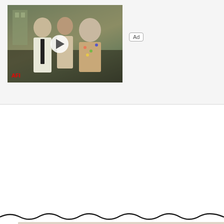[Figure (screenshot): Video thumbnail showing a film still from an AFI video with people, a play button overlay, and an Ad badge]
[Figure (photo): London Town album cover showing colorful letter title 'LONDON TOWN', Tower Bridge, and a person's face in the lower right corner]